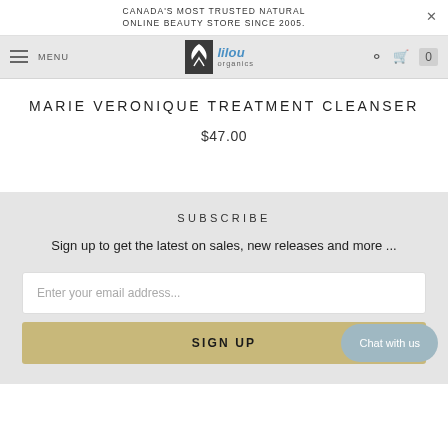CANADA'S MOST TRUSTED NATURAL ONLINE BEAUTY STORE SINCE 2005.
[Figure (logo): Lilou Organics logo with leaf icon, blue 'lilou' text and grey 'organics' text]
MARIE VERONIQUE TREATMENT CLEANSER
$47.00
SUBSCRIBE
Sign up to get the latest on sales, new releases and more ...
Enter your email address...
SIGN UP
Chat with us